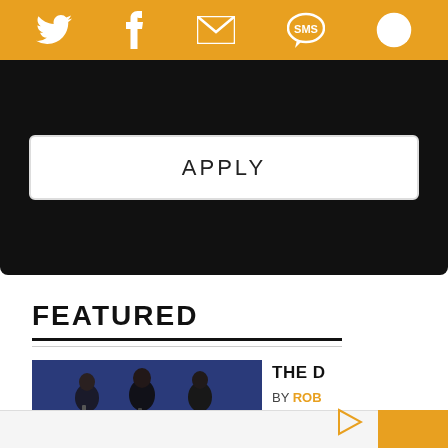[Figure (screenshot): Orange top navigation bar with Twitter, Facebook, email/envelope, SMS, and settings/user icons in white]
Call for Music Writers
APPLY
FEATURED
[Figure (photo): Three people (band members) sitting in cinema/theater seats, blue toned audience seating in background]
THE D
BY ROB